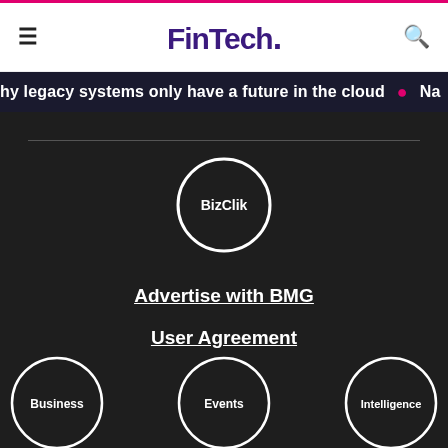FinTech.
hy legacy systems only have a future in the cloud • Na
[Figure (logo): BizClik circular logo with white circle border and white text on dark background]
Advertise with BMG
User Agreement
Privacy Policy
[Figure (logo): Business circular logo - white circle border, dark background, white text]
[Figure (logo): Events circular logo - white circle border, dark background, white text]
[Figure (logo): Intelligence circular logo - white circle border, dark background, white text]